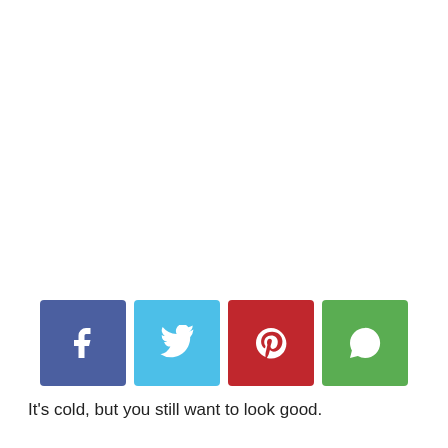[Figure (other): Four social media share buttons: Facebook (dark blue), Twitter (light blue), Pinterest (red), WhatsApp (green), each showing the respective platform icon in white on a colored rounded-corner square background.]
It's cold, but you still want to look good.